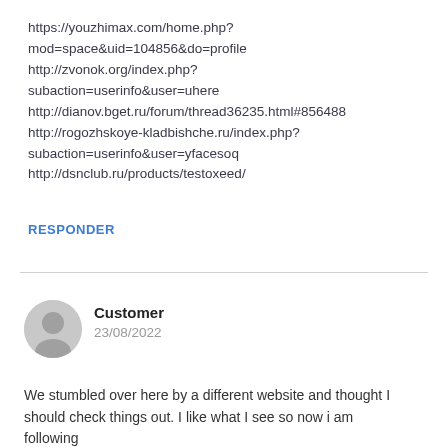https://youzhimax.com/home.php?mod=space&uid=104856&do=profile
http://zvonok.org/index.php?subaction=userinfo&user=uhere
http://dianov.bget.ru/forum/thread36235.html#856488
http://rogozhskoye-kladbishche.ru/index.php?subaction=userinfo&user=yfacesoq
http://dsnclub.ru/products/testoxeed/
RESPONDER
Customer
23/08/2022
We stumbled over here by a different website and thought I should check things out. I like what I see so now i am following